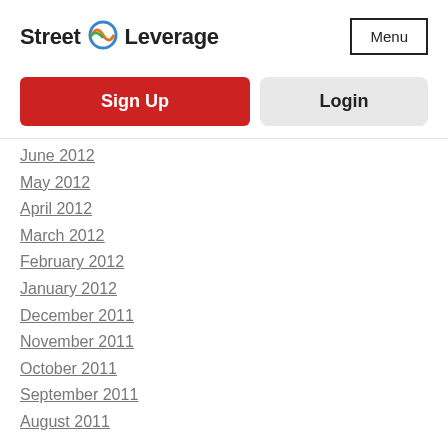Street Leverage | Menu
Sign Up
Login
June 2012
May 2012
April 2012
March 2012
February 2012
January 2012
December 2011
November 2011
October 2011
September 2011
August 2011
Categories